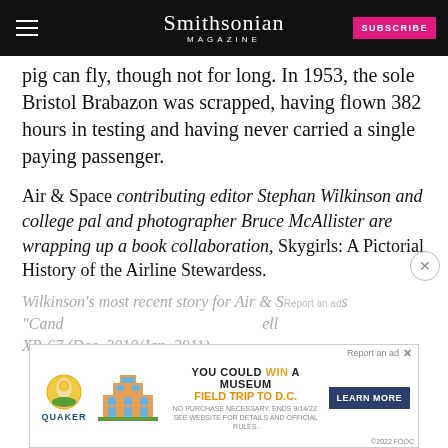Smithsonian MAGAZINE | SUBSCRIBE
pig can fly, though not for long. In 1953, the sole Bristol Brabazon was scrapped, having flown 382 hours in testing and having never carried a single paying passenger.
Air & Space contributing editor Stephan Wilkinson and college pal and photographer Bruce McAllister are wrapping up a book collaboration, Skygirls: A Pictorial History of the Airline Stewardess.
Wilkinson's most recent story for Air & Space was "Candy..." ...McDonnell XP-67 (Dec. 2010/Jan. 2011).
[Figure (screenshot): Quaker Museum Day advertisement: YOU COULD WIN A MUSEUM FIELD TRIP TO D.C. LEARN MORE]